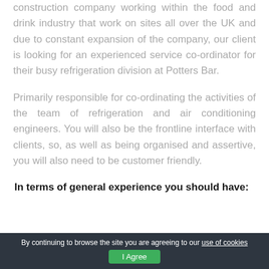construction company working within the food and drink industry that work on sites all over the UK and due to constant expansion of the company, our client is looking for an experienced service co-ordinator for their busy refrigeration division at Potters Bar.
Primarily responsible for co-ordinating the activities of the team of refrigeration and air conditioning engineers. You will also be the frontline interface with clients, so, as well as being organised and assertive, you will also need to be customer friendly.
In terms of general experience you should have:
By continuing to browse the site you are agreeing to our use of cookies  I Agree